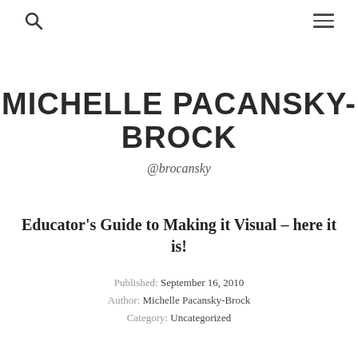[search icon] [menu icon]
MICHELLE PACANSKY-BROCK
@brocansky
Educator's Guide to Making it Visual – here it is!
Published: September 16, 2010
Author: Michelle Pacansky-Brock
Category: Uncategorized